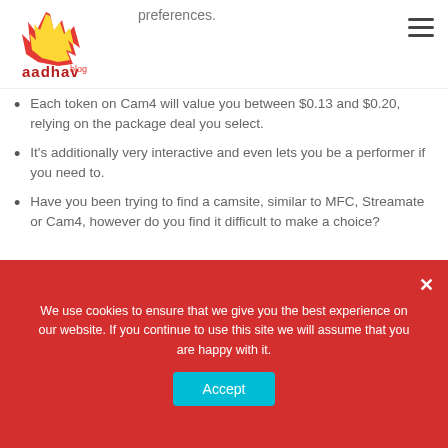Aadhav (logo) + hamburger menu
preferences.
Each token on Cam4 will value you between $0.13 and $0.20, relying on the package deal you select.
It's additionally very interactive and even lets you be a performer if you need to.
Have you been trying to find a camsite, similar to MFC, Streamate or Cam4, however do you find it difficult to make a choice?
We use cookies to ensure that we give you the best experience on our website. If you continue to use this site we will assume that you are happy with it.
Accept